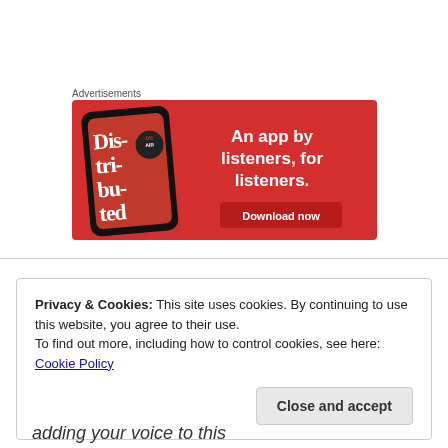Advertisements
[Figure (illustration): Red advertisement banner for a podcast app showing a phone with 'Dis-tri-bu-ted' podcast, tagline 'An app by listeners, for listeners.' and a 'Download now' button.]
Privacy & Cookies: This site uses cookies. By continuing to use this website, you agree to their use.
To find out more, including how to control cookies, see here: Cookie Policy
Close and accept
adding your voice to this